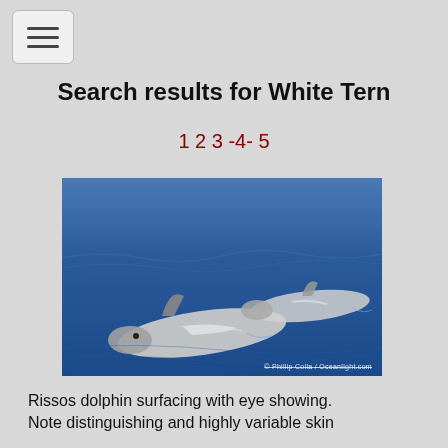☰ (hamburger menu button)
Search results for White Tern
1 2 3 -4- 5
[Figure (photo): Two Risso's dolphins surfacing at sea, showing dorsal fins and white/grey bodies against blue water. Watermark reads: © Phillip Colla / Oceanlight.com]
Rissos dolphin surfacing with eye showing. Note distinguishing and highly variable skin